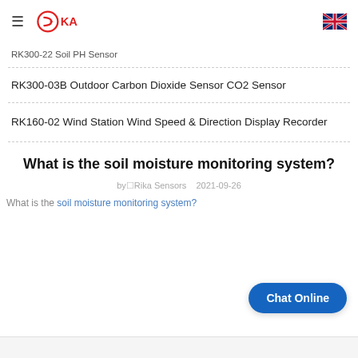Rika Sensors - navigation header with logo and UK flag
RK300-22 Soil PH Sensor
RK300-03B Outdoor Carbon Dioxide Sensor CO2 Sensor
RK160-02 Wind Station Wind Speed & Direction Display Recorder
What is the soil moisture monitoring system?
by Rika Sensors  2021-09-26
What is the soil moisture monitoring system?